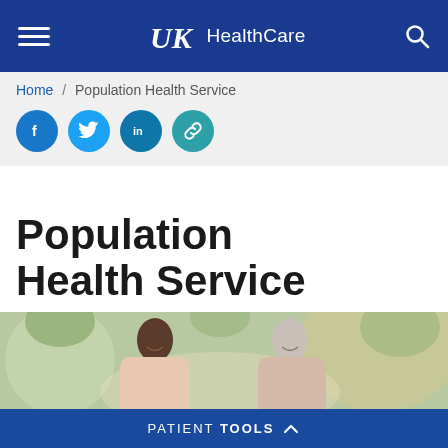UK HealthCare
Home / Population Health Service
[Figure (illustration): Row of four social media icon buttons: Facebook (blue), Twitter (light blue), LinkedIn (teal-blue), chain/link (teal)]
Population Health Service
[Figure (photo): Two women smiling and talking outdoors — one with braided hair, one with short gray hair]
PATIENT TOOLS